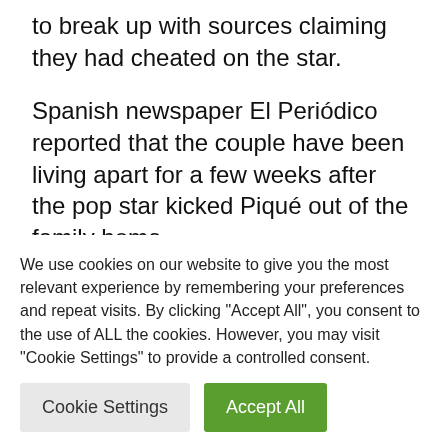to break up with sources claiming they had cheated on the star.
Spanish newspaper El Periódico reported that the couple have been living apart for a few weeks after the pop star kicked Piqué out of the family home.
According to sources, Pique has since been living a "party lifestyle" in a bachelor pad
We use cookies on our website to give you the most relevant experience by remembering your preferences and repeat visits. By clicking "Accept All", you consent to the use of ALL the cookies. However, you may visit "Cookie Settings" to provide a controlled consent.
Cookie Settings
Accept All